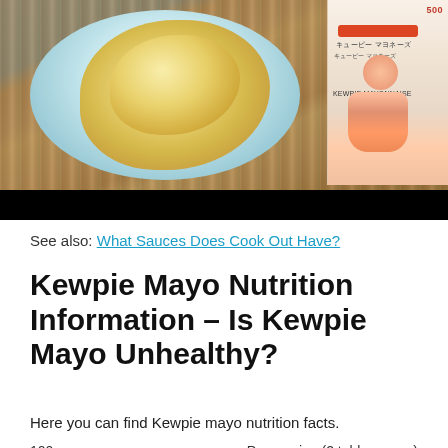[Figure (photo): Photo of Kewpie mayo in a small teal bowl with a bottle of Kewpie mayonnaise visible in the background on a wooden surface. A black bar appears at the bottom of the image.]
See also: What Sauces Does Cook Out Have?
Kewpie Mayo Nutrition Information – Is Kewpie Mayo Unhealthy?
Here you can find Kewpie mayo nutrition facts.
| 100 g | Per serving (2 tablespoons) |
| --- | --- |